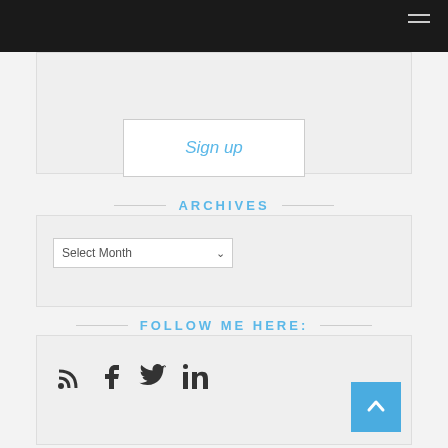Sign up
ARCHIVES
Select Month
FOLLOW ME HERE:
[Figure (other): Social media icons: RSS feed, Facebook, Twitter, LinkedIn]
[Figure (other): Scroll to top button with upward chevron arrow]